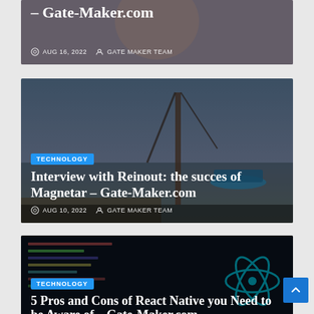[Figure (screenshot): Partial article card with photo of a woman, tag hidden above fold. Date: AUG 16, 2022. Author: GATE MAKER TEAM. Title partially visible: – Gate-Maker.com]
[Figure (photo): Article card with crane/industrial equipment by the sea. Tag: TECHNOLOGY. Title: Interview with Reinout: the succes of Magnetar – Gate-Maker.com. Date: AUG 10, 2022. Author: GATE MAKER TEAM.]
[Figure (screenshot): Partial article card with code editor and React logo. Tag: TECHNOLOGY. Title: 5 Pros and Cons of React Native you Need to be Aware of – Gate-Maker.com]